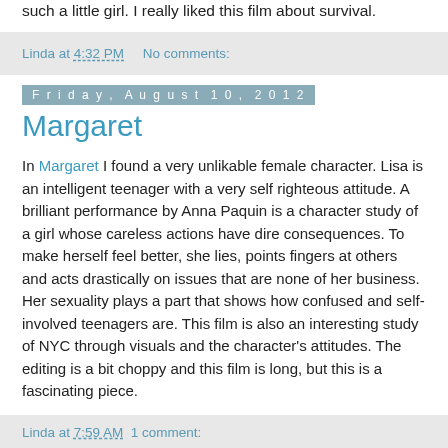such a little girl. I really liked this film about survival.
Linda at 4:32 PM    No comments:
Friday, August 10, 2012
Margaret
In Margaret I found a very unlikable female character. Lisa is an intelligent teenager with a very self righteous attitude. A brilliant performance by Anna Paquin is a character study of a girl whose careless actions have dire consequences. To make herself feel better, she lies, points fingers at others and acts drastically on issues that are none of her business. Her sexuality plays a part that shows how confused and self-involved teenagers are. This film is also an interesting study of NYC through visuals and the character's attitudes. The editing is a bit choppy and this film is long, but this is a fascinating piece.
Linda at 7:59 AM  1 comment: